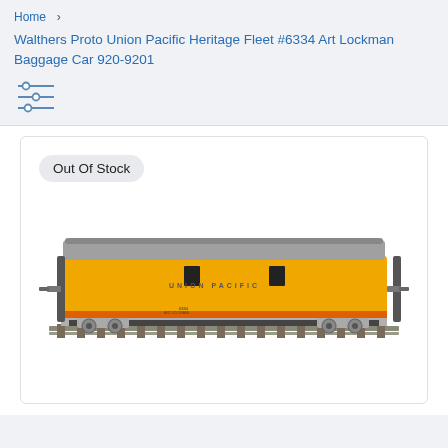Home >
Walthers Proto Union Pacific Heritage Fleet #6334 Art Lockman Baggage Car 920-9201
[Figure (other): Filter/sliders icon with three horizontal lines and circular adjustment knobs]
[Figure (photo): Model train baggage car in Union Pacific yellow and gray livery on track, labeled 'UNION PACIFIC' with car number 6334. Out Of Stock badge shown in upper left of product card.]